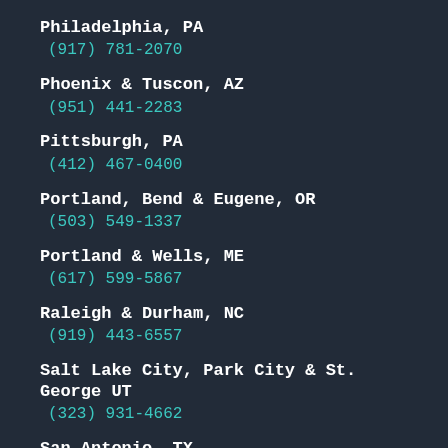Philadelphia, PA
(917) 781-2070
Phoenix & Tuscon, AZ
(951) 441-2283
Pittsburgh, PA
(412) 467-0400
Portland, Bend & Eugene, OR
(503) 549-1337
Portland & Wells, ME
(617) 599-5867
Raleigh & Durham, NC
(919) 443-6557
Salt Lake City, Park City & St. George UT
(323) 931-4662
San Antonio, TX